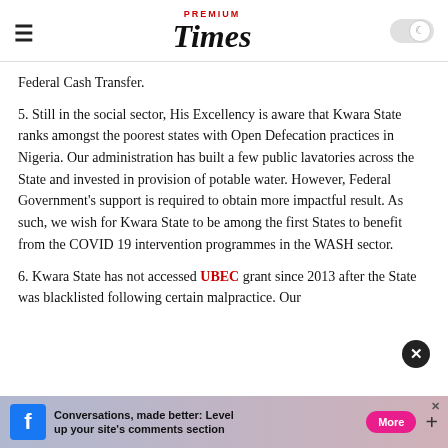Premium Times
Federal Cash Transfer.
5. Still in the social sector, His Excellency is aware that Kwara State ranks amongst the poorest states with Open Defecation practices in Nigeria. Our administration has built a few public lavatories across the State and invested in provision of potable water. However, Federal Government’s support is required to obtain more impactful result. As such, we wish for Kwara State to be among the first States to benefit from the COVID 19 intervention programmes in the WASH sector.
6. Kwara State has not accessed UBEC grant since 2013 after the State was blacklisted following certain malpractice. Our
[Figure (other): Facebook advertisement banner: Conversations, made better: Level up your site's comments section]